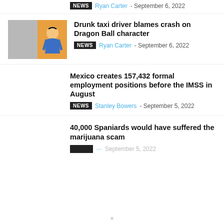NEWS  Ryan Carter - September 6, 2022
[Figure (photo): Two-panel thumbnail: left panel shows a car crash scene in gray tones, right panel shows an anime character (Goku from Dragon Ball) with orange background.]
Drunk taxi driver blames crash on Dragon Ball character
NEWS  Ryan Carter - September 6, 2022
Mexico creates 157,432 formal employment positions before the IMSS in August
NEWS  Stanley Bowers - September 5, 2022
40,000 Spaniards would have suffered the marijuana scam